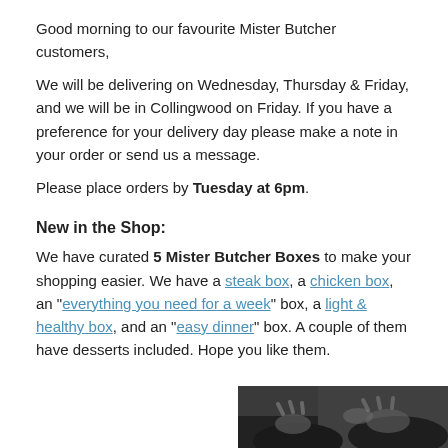Good morning to our favourite Mister Butcher customers,
We will be delivering on Wednesday, Thursday & Friday, and we will be in Collingwood on Friday. If you have a preference for your delivery day please make a note in your order or send us a message.
Please place orders by Tuesday at 6pm.
New in the Shop:
We have curated 5 Mister Butcher Boxes to make your shopping easier. We have a steak box, a chicken box, an "everything you need for a week" box, a light & healthy box, and an "easy dinner" box. A couple of them have desserts included. Hope you like them.
[Figure (photo): Partial photo of hands holding what appears to be meat or food items, dark background, cropped at bottom of page]